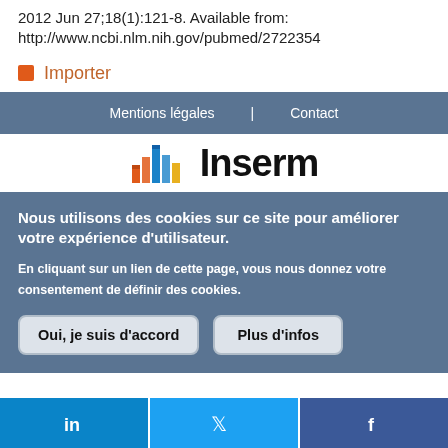2012 Jun 27;18(1):121-8. Available from: http://www.ncbi.nlm.nih.gov/pubmed/2722354
Importer
Mentions légales | Contact
[Figure (logo): Inserm logo with colorful bar chart icon and bold Inserm text]
Nous utilisons des cookies sur ce site pour améliorer votre expérience d'utilisateur.
En cliquant sur un lien de cette page, vous nous donnez votre consentement de définir des cookies.
Oui, je suis d'accord
Plus d'infos
[Figure (other): Social media bar with LinkedIn, Twitter, and Facebook icons]